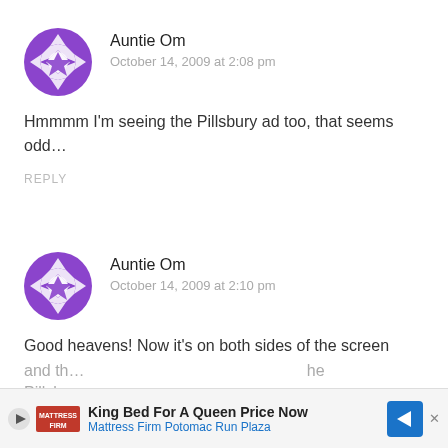[Figure (illustration): Purple geometric pattern avatar circle for Auntie Om (first comment)]
Auntie Om
October 14, 2009 at 2:08 pm
Hmmmm I'm seeing the Pillsbury ad too, that seems odd…
REPLY
[Figure (illustration): Purple geometric pattern avatar circle for Auntie Om (second comment)]
Auntie Om
October 14, 2009 at 2:10 pm
Good heavens! Now it's on both sides of the screen and th… the Pillsb…
King Bed For A Queen Price Now Mattress Firm Potomac Run Plaza